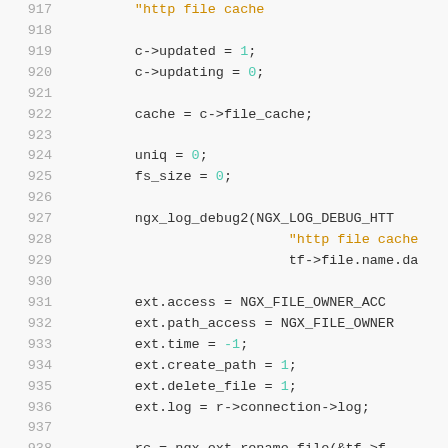[Figure (screenshot): Source code listing in a monospace code editor showing C code lines 917-947, with line numbers on the left in gray, keywords in bold, numeric literals in teal/cyan, and string literals in orange/gold. The code involves cache update logic, file cache operations, and NGX (nginx) API calls.]